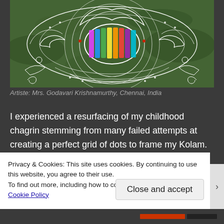[Figure (photo): Aerial view of a large decorative Kolam (Indian floor art) made with white powder and colorful patterns on a green grass background. The Kolam features intricate geometric and floral designs with bright multicolored sections in the center.]
Artiste: Mrs. Godavari Krishnamurthy, Chennai, India
I experienced a resurfacing of my childhood chagrin stemming from many failed attempts at creating a perfect grid of dots to frame my Kolam. Now, having mulled over this problem afresh, it occurred to me that a spreadsheet would be the ideal tool to create a precise grid of dots. I eagerly created these Excel templates and
Privacy & Cookies: This site uses cookies. By continuing to use this website, you agree to their use.
To find out more, including how to control cookies, see here: Cookie Policy